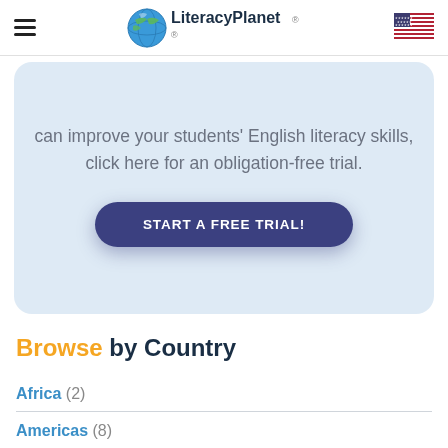LiteracyPlanet® — navigation header with hamburger menu and US flag
can improve your students' English literacy skills, click here for an obligation-free trial.
START A FREE TRIAL!
Browse by Country
Africa (2)
Americas (8)